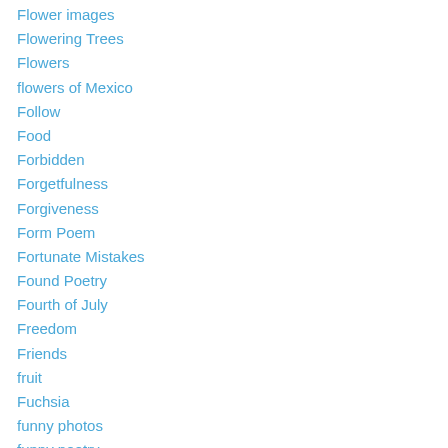Flower images
Flowering Trees
Flowers
flowers of Mexico
Follow
Food
Forbidden
Forgetfulness
Forgiveness
Form Poem
Fortunate Mistakes
Found Poetry
Fourth of July
Freedom
Friends
fruit
Fuchsia
funny photos
funny poetry
funny signs